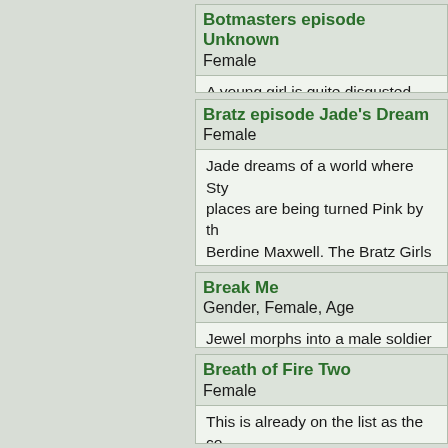Botmasters episode Unknown
Female
A young girl is quite disgusted abo... beautiful jack-booted villainess for...
Bratz episode Jade's Dream
Female
Jade dreams of a world where Sty... places are being turned Pink by th... Berdine Maxwell. The Bratz Girls h... stop Berdine, Casey and Kirstie. S... a special pink potion she aims a b... Yasmin, and Chloe, turning th ...m
Break Me
Gender, Female, Age
Jewel morphs into a male soldier a... The men sing with Jewel's voice.
Breath of Fire Two
Female
This is already on the list as the co... Fire II or Breath of Fire 2 - Marked...